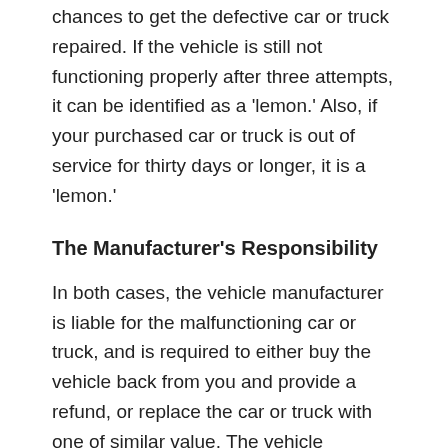Lemon Law, the vehicle business has three chances to get the defective car or truck repaired. If the vehicle is still not functioning properly after three attempts, it can be identified as a 'lemon.' Also, if your purchased car or truck is out of service for thirty days or longer, it is a 'lemon.'
The Manufacturer's Responsibility
In both cases, the vehicle manufacturer is liable for the malfunctioning car or truck, and is required to either buy the vehicle back from you and provide a refund, or replace the car or truck with one of similar value. The vehicle company is also responsible for refunding you for any other expenses resulting from your defective car or truck. This includes repair fees, sales tax, charges